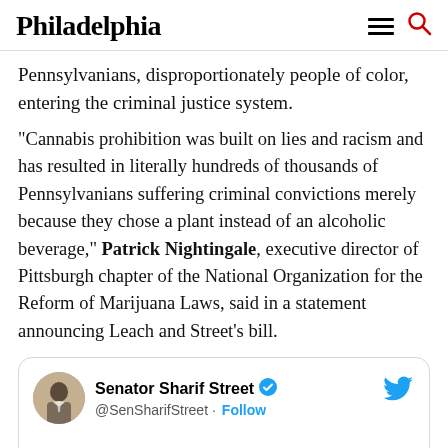Philadelphia
Pennsylvanians, disproportionately people of color, entering the criminal justice system.
“Cannabis prohibition was built on lies and racism and has resulted in literally hundreds of thousands of Pennsylvanians suffering criminal convictions merely because they chose a plant instead of an alcoholic beverage,” Patrick Nightingale, executive director of Pittsburgh chapter of the National Organization for the Reform of Marijuana Laws, said in a statement announcing Leach and Street’s bill.
[Figure (screenshot): Embedded tweet from Senator Sharif Street (@SenSharifStreet) with Follow button, Twitter bird logo, and partial tweet text: An end to the prohibition of cannabis in PA is]
An end to the prohibition of cannabis in PA is